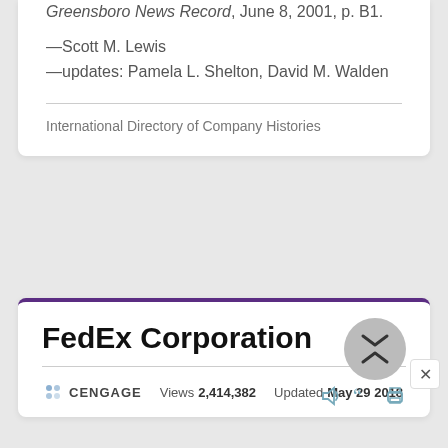Greensboro News Record, June 8, 2001, p. B1.
—Scott M. Lewis
—updates: Pamela L. Shelton, David M. Walden
International Directory of Company Histories
FedEx Corporation
CENGAGE   Views 2,414,382   Updated May 29 2018